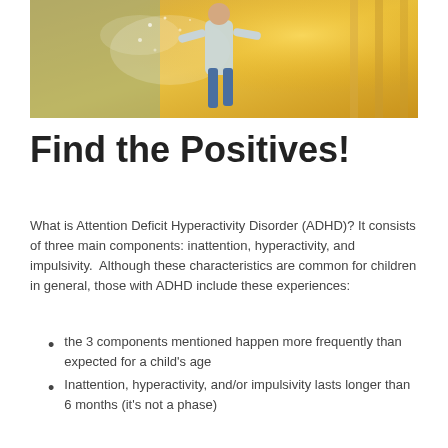[Figure (photo): Child running through a water sprinkler in a sunny golden field, wearing a t-shirt with text, viewed from behind/side.]
Find the Positives!
What is Attention Deficit Hyperactivity Disorder (ADHD)? It consists of three main components: inattention, hyperactivity, and impulsivity.  Although these characteristics are common for children in general, those with ADHD include these experiences:
the 3 components mentioned happen more frequently than expected for a child's age
Inattention, hyperactivity, and/or impulsivity lasts longer than 6 months (it's not a phase)